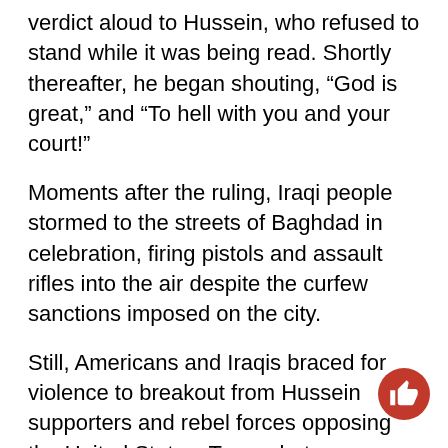verdict aloud to Hussein, who refused to stand while it was being read. Shortly thereafter, he began shouting, “God is great,” and “To hell with you and your court!”
Moments after the ruling, Iraqi people stormed to the streets of Baghdad in celebration, firing pistols and assault rifles into the air despite the curfew sanctions imposed on the city.
Still, Americans and Iraqis braced for violence to breakout from Hussein supporters and rebel forces opposing the United States. To combat insurgency retaliation, U.S. forces had jet fighters fly above Baghdad throughout the day after the announcement, as well as putting Iraqi security on high alert.
However, the United States received multiple warnings from individuals who, on behalf of Hussein, promised that sectarian violence would increase.